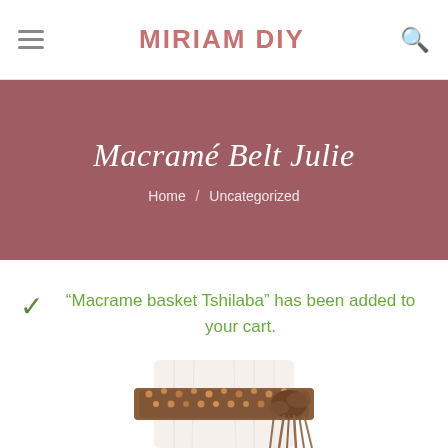MIRIAM DIY
Macramé Belt Julie
Home / Uncategorized
"Macrame basket Tshilaba" has been added to your cart.
[Figure (photo): Macramé belt product photo showing a brown woven macramé belt tied around white fabric, with decorative beads and rope fringe.]